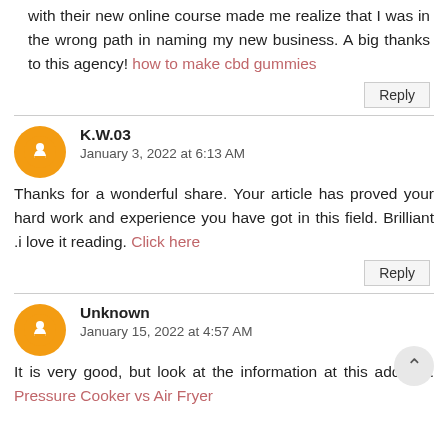with their new online course made me realize that I was in the wrong path in naming my new business. A big thanks to this agency! how to make cbd gummies
Reply
K.W.03
January 3, 2022 at 6:13 AM
Thanks for a wonderful share. Your article has proved your hard work and experience you have got in this field. Brilliant .i love it reading. Click here
Reply
Unknown
January 15, 2022 at 4:57 AM
It is very good, but look at the information at this address. Pressure Cooker vs Air Fryer